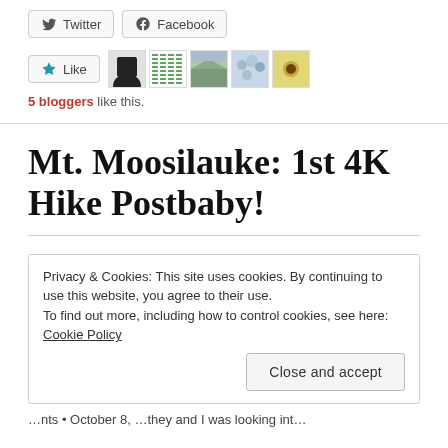[Figure (other): Twitter and Facebook share buttons]
[Figure (other): Like button with 5 blogger avatar thumbnails]
5 bloggers like this.
Mt. Moosilauke: 1st 4K Hike Postbaby!
Privacy & Cookies: This site uses cookies. By continuing to use this website, you agree to their use.
To find out more, including how to control cookies, see here: Cookie Policy
Close and accept